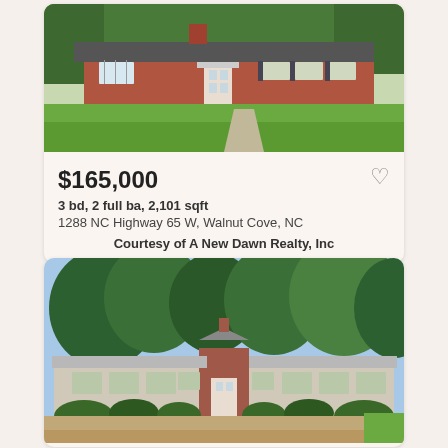[Figure (photo): Exterior photo of a single-story brick ranch house with large green lawn and trees in background]
$165,000
3 bd, 2 full ba, 2,101 sqft
1288 NC Highway 65 W, Walnut Cove, NC
Courtesy of A New Dawn Realty, Inc
[Figure (photo): Exterior photo of a long single-story ranch house with trees overhead and brick accent, gravel driveway in foreground]